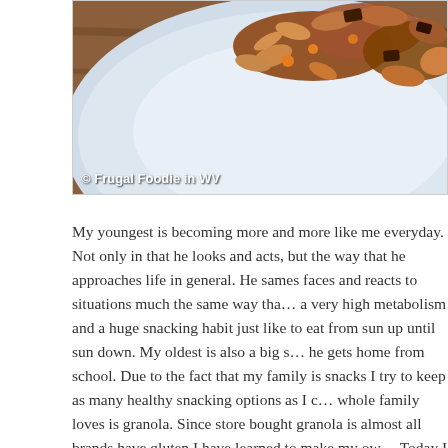[Figure (photo): A close-up photo of granola clusters on a white plate placed on a wooden surface. The granola is golden-brown with chocolate pieces visible. A copyright watermark reads '© Frugal Foodie in WV' in the lower-left corner of the image.]
My youngest is becoming more and more like me everyday. Not only in that he looks and acts, but the way that he approaches life in general. He sames faces and reacts to situations much the same way that I do. He has a very high metabolism and a huge snacking habit just like me. He seems to eat from sun up until sun down. My oldest is also a big snacker when he gets home from school. Due to the fact that my family is always wanting snacks I try to keep as many healthy snacking options as I can. One thing the whole family loves is granola. Since store bought granola is expensive and almost all brands have gluten I have learned to make my own at home. Today I tried a new recipe for Chocolate-Pecan Pie Granola.